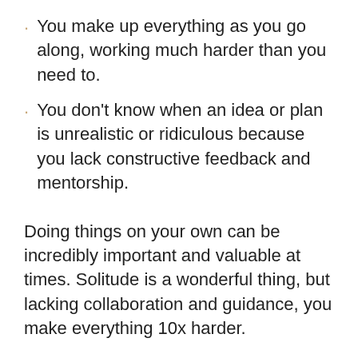You make up everything as you go along, working much harder than you need to.
You don't know when an idea or plan is unrealistic or ridiculous because you lack constructive feedback and mentorship.
Doing things on your own can be incredibly important and valuable at times. Solitude is a wonderful thing, but lacking collaboration and guidance, you make everything 10x harder.
So, how do you build a tribe of